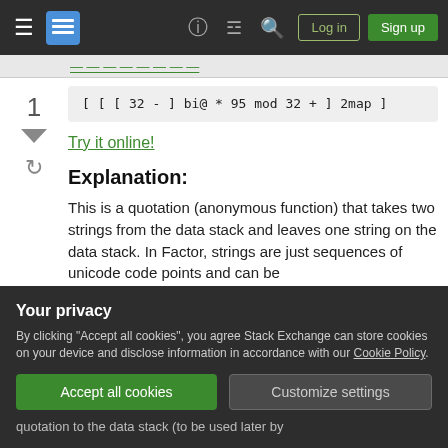Stack Exchange navigation bar with hamburger menu, logo, help icon, chat icon, search icon, Log in button, Sign up button
[ [ [ 32 - ] bi@ * 95 mod 32 + ] 2map ]
Try it online!
Explanation:
This is a quotation (anonymous function) that takes two strings from the data stack and leaves one string on the data stack. In Factor, strings are just sequences of unicode code points and can be
Your privacy
By clicking "Accept all cookies", you agree Stack Exchange can store cookies on your device and disclose information in accordance with our Cookie Policy.
Accept all cookies
Customize settings
quotation to the data stack (to be used later by